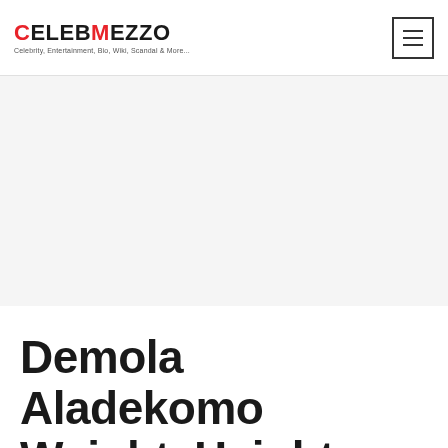CELEBMEZZO — Celebrity, Entertainment, Bio, Wiki, Scandal & More...
[Figure (other): Advertisement banner area (blank/grey placeholder)]
Demola Aladekomo Weight, Height, Net